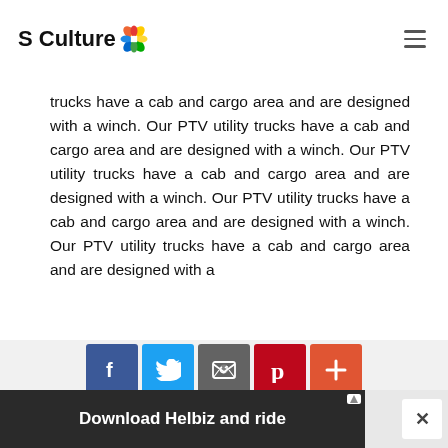S Culture
trucks have a cab and cargo area and are designed with a winch. Our PTV utility trucks have a cab and cargo area and are designed with a winch. Our PTV utility trucks have a cab and cargo area and are designed with a winch. Our PTV utility trucks have a cab and cargo area and are designed with a winch. Our PTV utility trucks have a cab and cargo area and are designed with a
[Figure (screenshot): Social share buttons: Facebook (blue), Twitter (light blue), Email/envelope (gray), Pinterest (red), More/plus (orange-red)]
[Figure (screenshot): Advertisement banner showing 'Download Helbiz and ride' with a scooter image on dark background. Close button (x) visible on right side.]